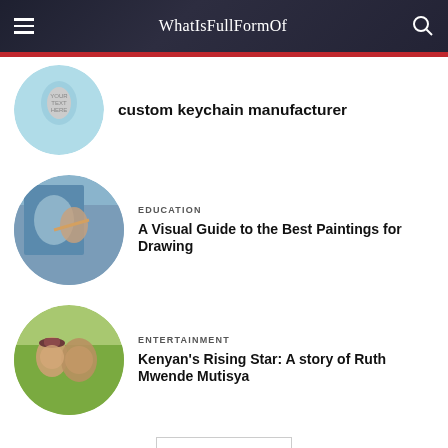WhatIsFullFormOf
[Figure (photo): Circular thumbnail of a custom keychain product on light blue background]
custom keychain manufacturer
[Figure (photo): Circular thumbnail of a person painting/drawing]
EDUCATION
A Visual Guide to the Best Paintings for Drawing
[Figure (photo): Circular thumbnail of two people smiling outdoors]
ENTERTAINMENT
Kenyan's Rising Star: A story of Ruth Mwende Mutisya
Load more